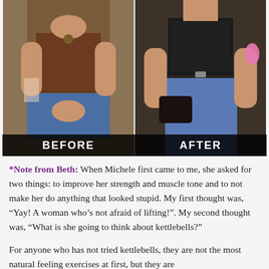[Figure (photo): Side-by-side before and after photos. Left photo labeled BEFORE shows a woman in a brown tank top and jeans seated. Right photo labeled AFTER shows a woman in a black corset top and jeans standing.]
*Note from Beth: When Michele first came to me, she asked for two things: to improve her strength and muscle tone and to not make her do anything that looked stupid. My first thought was, “Yay! A woman who’s not afraid of lifting!”. My second thought was, “What is she going to think about kettlebells?”
For anyone who has not tried kettlebells, they are not the most natural feeling exercises at first, but they are